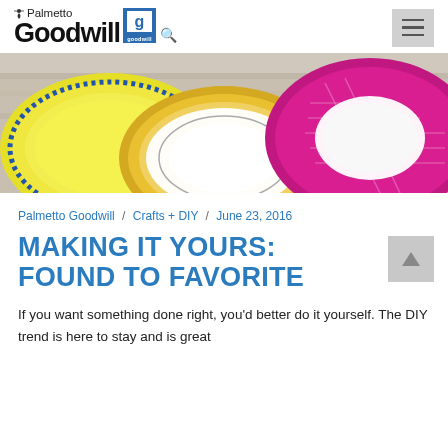Palmetto Goodwill
[Figure (photo): Overhead view of colorful decorative plates on a rustic white wooden surface: a yellow plate with blue rim on the left, a white plate with gold rim in the center, and a pink/magenta plate with geometric pattern on the right.]
Palmetto Goodwill / Crafts + DIY / June 23, 2016
MAKING IT YOURS: FOUND TO FAVORITE
If you want something done right, you'd better do it yourself. The DIY trend is here to stay and is great